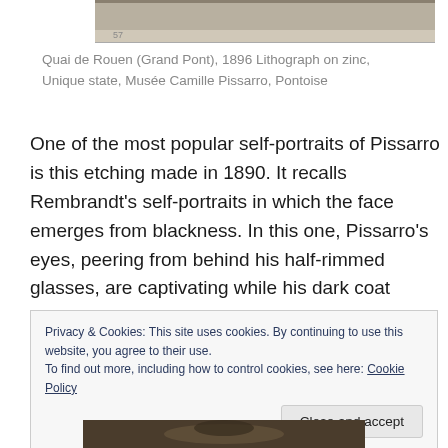[Figure (photo): Partial view of a lithograph artwork at the top of the page, showing a dark etching/lithograph image cropped at the top edge]
Quai de Rouen (Grand Pont), 1896 Lithograph on zinc, Unique state, Musée Camille Pissarro, Pontoise
One of the most popular self-portraits of Pissarro is this etching made in 1890. It recalls Rembrandt's self-portraits in which the face emerges from blackness. In this one, Pissarro's eyes, peering from behind his half-rimmed glasses, are captivating while his dark coat fades into the background.
Privacy & Cookies: This site uses cookies. By continuing to use this website, you agree to their use.
To find out more, including how to control cookies, see here: Cookie Policy
[Figure (photo): Partial view of another etching/portrait artwork at the bottom of the page]